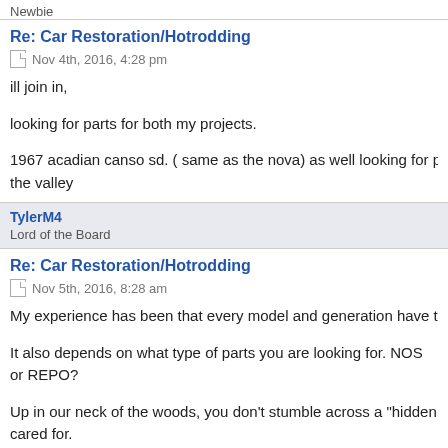Re: Car Restoration/Hotrodding
Nov 4th, 2016, 4:28 pm
ill join in,

looking for parts for both my projects.

1967 acadian canso sd. ( same as the nova) as well looking for parts for my 1... the valley
TylerM4
Lord of the Board
Re: Car Restoration/Hotrodding
Nov 5th, 2016, 8:28 am
My experience has been that every model and generation have their own par...

It also depends on what type of parts you are looking for. NOS or REPO?

Up in our neck of the woods, you don't stumble across a "hidden classics junk... cared for.

Also - everyone wants their own thing. For me: I want a classic that drives ni...